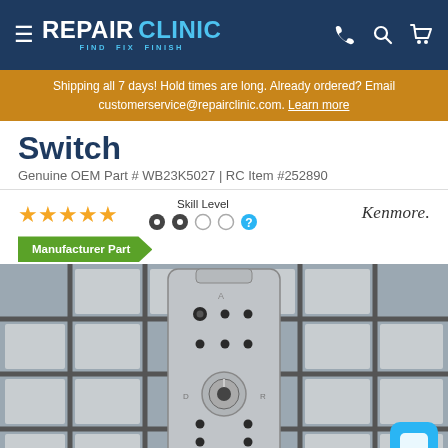REPAIR CLINIC — FIND. FIX. FINISH.
Shipping all 7 days! Hold times are long. Already ordered? Email customerservice@repairclinic.com. Learn more
Switch
Genuine OEM Part # WB23K5027 | RC Item #252890
[Figure (other): Five gold star rating, Skill Level icons (2 filled circles out of 4), Kenmore logo]
Manufacturer Part
[Figure (photo): Close-up photo of a metal switch component (part WB23K5027) shown against a grey tile grid background]